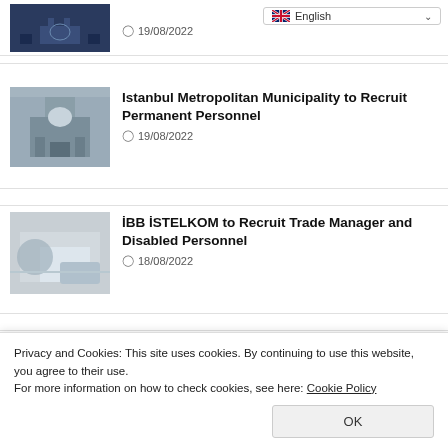[Figure (screenshot): Language selector dropdown showing English with flag]
[Figure (photo): Aerial view of a government/municipal building]
Istanbul Metropolitan Municipality to Recruit Permanent Personnel
19/08/2022
[Figure (photo): Person writing at a desk, blurred/close-up]
İBB İSTELKOM to Recruit Trade Manager and Disabled Personnel
18/08/2022
[Figure (photo): Sunset silhouette of a transmission tower]
İBB City Lines Will Recruit At least High School Graduate Sales Personnel
Privacy and Cookies: This site uses cookies. By continuing to use this website, you agree to their use.
For more information on how to check cookies, see here: Cookie Policy